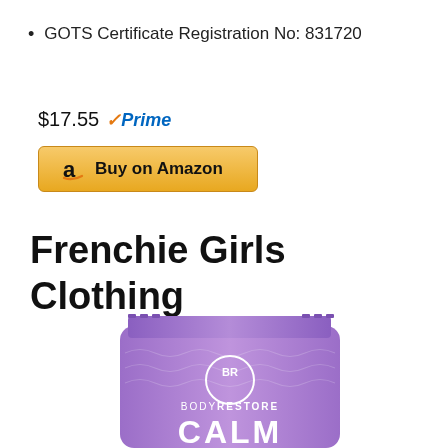GOTS Certificate Registration No: 831720
$17.55 ✓Prime
[Figure (other): Buy on Amazon button with Amazon logo]
Frenchie Girls Clothing
[Figure (photo): Purple BodyRestore CALM product pouch/bag]